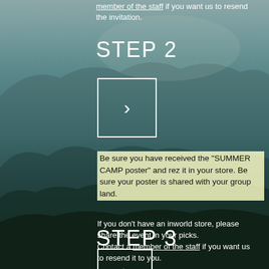member of the staff if you want us to resend the invitation.
STEP 2
[Figure (other): White bordered square with a right-pointing chevron arrow icon inside, on a teal mountain landscape background]
Be sure you have received the "SUMMER CAMP poster" and rez it in your store. Be sure your poster is shared with your group land.
If you don't have an inworld store, please share the event in your picks.
Contact a member of the staff if you want us to resend it to you.
STEP 3
[Figure (other): White bordered square with a right-pointing chevron arrow icon inside, partially visible at bottom of page]